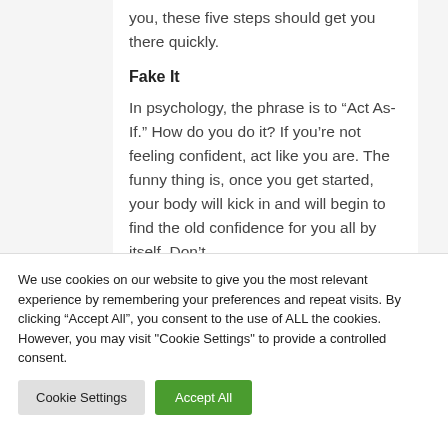you, these five steps should get you there quickly.
Fake It
In psychology, the phrase is to “Act As-If.” How do you do it? If you’re not feeling confident, act like you are. The funny thing is, once you get started, your body will kick in and will begin to find the old confidence for you all by itself. Don’t
We use cookies on our website to give you the most relevant experience by remembering your preferences and repeat visits. By clicking “Accept All”, you consent to the use of ALL the cookies. However, you may visit "Cookie Settings" to provide a controlled consent.